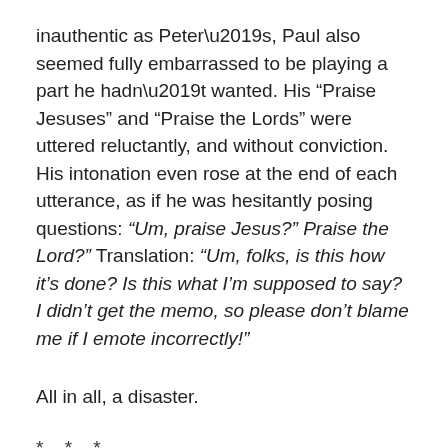inauthentic as Peter’s, Paul also seemed fully embarrassed to be playing a part he hadn’t wanted. His “Praise Jesuses” and “Praise the Lords” were uttered reluctantly, and without conviction. His intonation even rose at the end of each utterance, as if he was hesitantly posing questions: “Um, praise Jesus?” Praise the Lord?” Translation: “Um, folks, is this how it’s done? Is this what I’m supposed to say? I didn’t get the memo, so please don’t blame me if I emote incorrectly!”
All in all, a disaster.
* * *
Peter, Paul and Mary’s baptismal service was the most awkward baptismal service I have ever experienced.